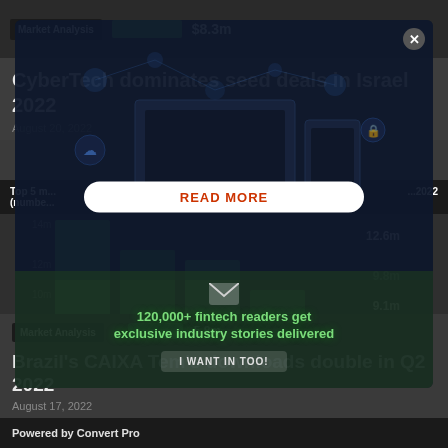Market Analysis   $8.3m
CyberTech dominates seed deals in Israel 2022
August 20, 2022
[Figure (bar-chart): Bar chart showing top 5 most downloaded apps (number), 2022 with values 12.6m, 9.8m, 9.1m, 5.8m partially visible]
[Figure (screenshot): Modal overlay popup with tech/cyber graphic showing READ MORE button in red text on white pill button; green promotional band with '120,000+ fintech readers get exclusive industry stories delivered'; I WANT IN TOO! button; close X button]
Market Analysis   5.8m
Brazil's CAIXA Tem's downloads double in Q2 2022
August 17, 2022
Powered by Convert Pro